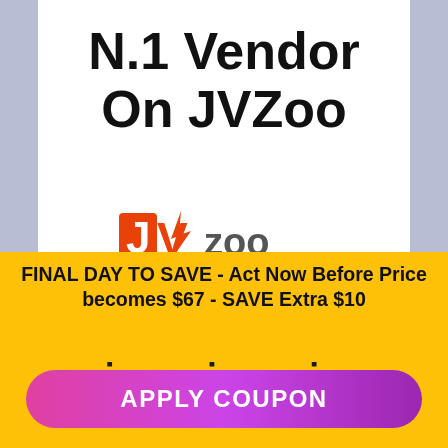N.1 Vendor On JVZoo
[Figure (logo): JVZoo logo partially visible at the bottom of the white section]
FINAL DAY TO SAVE - Act Now Before Price becomes $67 - SAVE Extra $10
: : :
APPLY COUPON